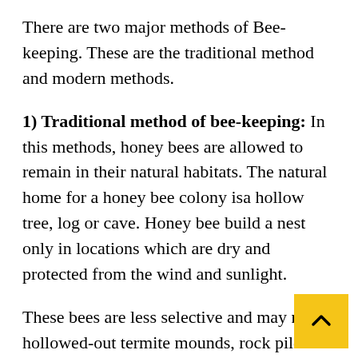There are two major methods of Bee-keeping. These are the traditional method and modern methods.
1) Traditional method of bee-keeping: In this methods, honey bees are allowed to remain in their natural habitats. The natural home for a honey bee colony isa hollow tree, log or cave. Honey bee build a nest only in locations which are dry and protected from the wind and sunlight.
These bees are less selective and may nest hollowed-out termite mounds, rock piles and